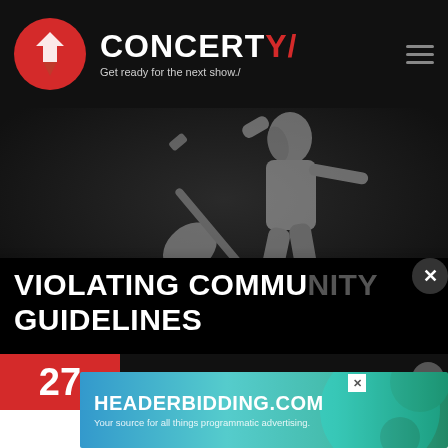[Figure (screenshot): Concerty website header with circular logo, brand name CONCERTY with red slash, tagline 'Get ready for the next show.' and hamburger menu icon]
[Figure (photo): Dark hero image showing a grey silhouette of a rock musician holding a guitar above their head against a dark background]
VIOLATING COMMUNITY GUIDELINES
[Figure (infographic): Event bar showing date 27, pin icon, venue name DC IMPRO, with red date box and dark background. Close button overlay.]
[Figure (screenshot): Advertisement banner for HEADERBIDDING.COM with tagline 'Your source for all things programmatic advertising.' on a teal/cyan gradient background with X close button]